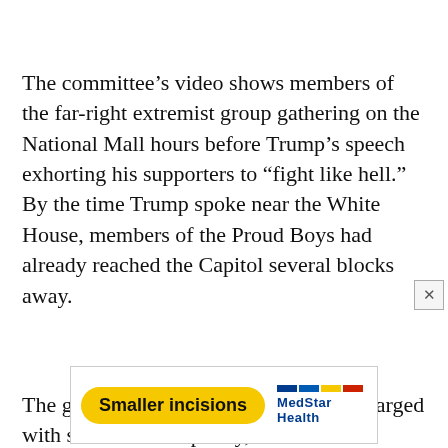The committee's video shows members of the far-right extremist group gathering on the National Mall hours before Trump's speech exhorting his supporters to “fight like hell.” By the time Trump spoke near the White House, members of the Proud Boys had already reached the Capitol several blocks away.
The group’s former top leader is now charged with seditious conspiracy, as are other members. Federal prosecutors allege they carried out a coordinated attack on the Capitol.
[Figure (other): Advertisement banner for MedStar Health featuring yellow pill-shaped button with text 'Smaller incisions' and MedStar Health logo on the right]